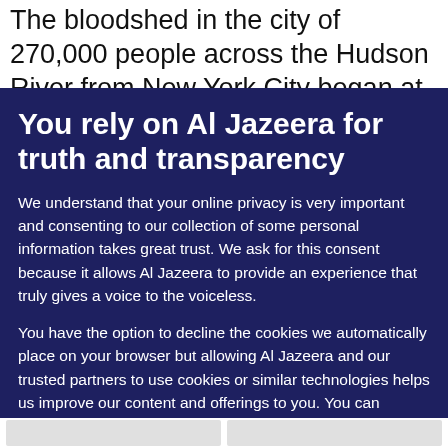The bloodshed in the city of 270,000 people across the Hudson River from New York City began at a
You rely on Al Jazeera for truth and transparency
We understand that your online privacy is very important and consenting to our collection of some personal information takes great trust. We ask for this consent because it allows Al Jazeera to provide an experience that truly gives a voice to the voiceless.
You have the option to decline the cookies we automatically place on your browser but allowing Al Jazeera and our trusted partners to use cookies or similar technologies helps us improve our content and offerings to you. You can change your privacy preferences at any time by selecting 'Cookie preferences' at the bottom of your screen. To learn more, please view our Cookie Policy.